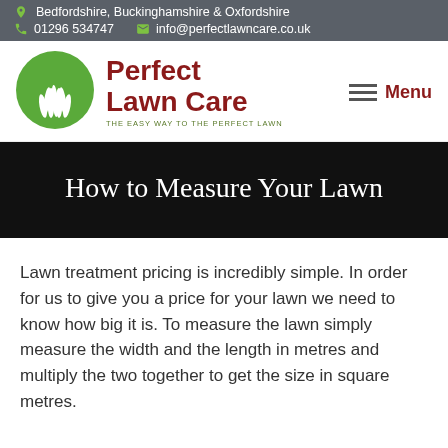Bedfordshire, Buckinghamshire & Oxfordshire | 01296 534747 | info@perfectlawncare.co.uk
[Figure (logo): Perfect Lawn Care logo with green circle containing grass/lawn illustration]
Perfect Lawn Care
THE EASY WAY TO THE PERFECT LAWN
How to Measure Your Lawn
Lawn treatment pricing is incredibly simple. In order for us to give you a price for your lawn we need to know how big it is. To measure the lawn simply measure the width and the length in metres and multiply the two together to get the size in square metres.